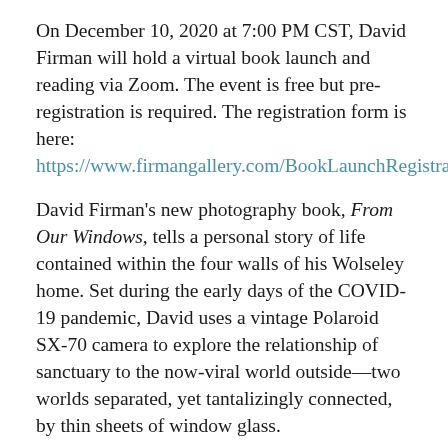On December 10, 2020 at 7:00 PM CST, David Firman will hold a virtual book launch and reading via Zoom. The event is free but pre-registration is required. The registration form is here: https://www.firmangallery.com/BookLaunchRegistration.
David Firman's new photography book, From Our Windows, tells a personal story of life contained within the four walls of his Wolseley home. Set during the early days of the COVID-19 pandemic, David uses a vintage Polaroid SX-70 camera to explore the relationship of sanctuary to the now-viral world outside—two worlds separated, yet tantalizingly connected, by thin sheets of window glass.
From Our Windows is a self-published hardcover book available through the author's website at